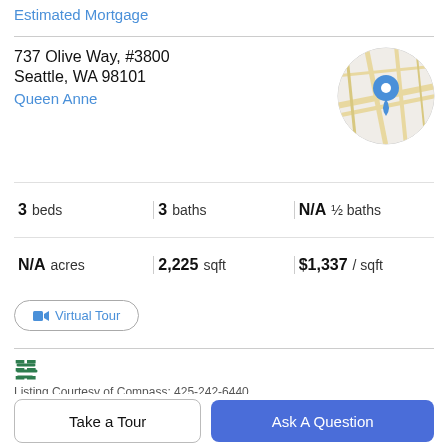Estimated Mortgage
737 Olive Way, #3800
Seattle, WA 98101
Queen Anne
[Figure (map): Circular map thumbnail showing street map with a blue location pin marker]
3 beds | 3 baths | N/A ½ baths
N/A acres | 2,225 sqft | $1,337 / sqft
Virtual Tour
[Figure (logo): Green MLS logo with three stylized lines]
Listing Courtesy of Compass: 425-242-6440.
Property Description
Take a Tour
Ask A Question